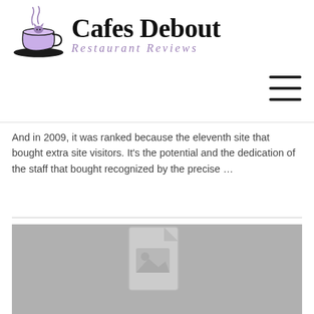[Figure (logo): Cafes Debout restaurant reviews logo with a purple coffee cup and cat illustration, brand name in black serif font, subtitle in purple italic]
And in 2009, it was ranked because the eleventh site that bought extra site visitors. It's the potential and the dedication of the staff that bought recognized by the precise …
[Figure (photo): Grey placeholder image with a document/image icon in the center]